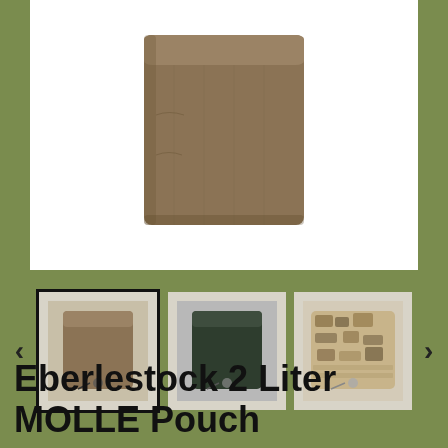[Figure (photo): Main product image of an olive/tan Eberlestock 2 Liter MOLLE Pouch on a white background]
[Figure (photo): Three thumbnail images of the Eberlestock 2 Liter MOLLE Pouch in different colors: tan/olive (selected, with black border), dark green, and multicam/camo pattern. Left and right navigation arrows on either side.]
Eberlestock 2 Liter MOLLE Pouch